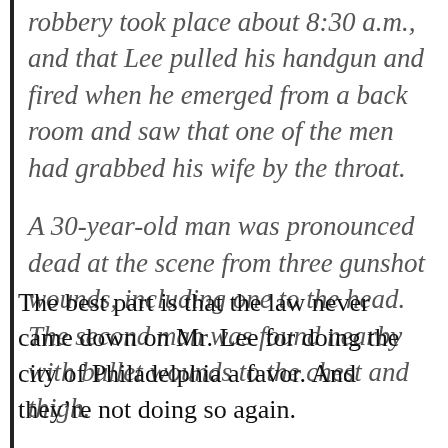robbery took place about 8:30 a.m., and that Lee pulled his handgun and fired when he emerged from a back room and saw that one of the men had grabbed his wife by the throat.
A 30-year-old man was pronounced dead at the scene from three gunshot wounds, including one to the head. The second man was found nearby with bullet wounds to the chest and thigh.
The best part is that the law never came down on Mr. Lee for doing the city of Philadelphia a favor. And they’re not doing so again.